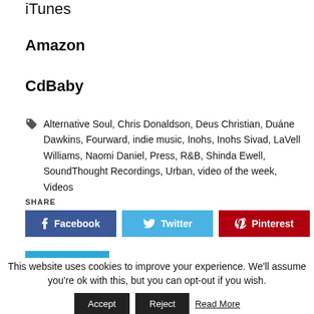iTunes
Amazon
CdBaby
Alternative Soul, Chris Donaldson, Deus Christian, Duáne Dawkins, Fourward, indie music, Inohs, Inohs Sivad, LaVell Williams, Naomi Daniel, Press, R&B, Shinda Ewell, SoundThought Recordings, Urban, video of the week, Videos
SHARE
Facebook  Twitter  Pinterest
This website uses cookies to improve your experience. We'll assume you're ok with this, but you can opt-out if you wish. Accept  Reject  Read More